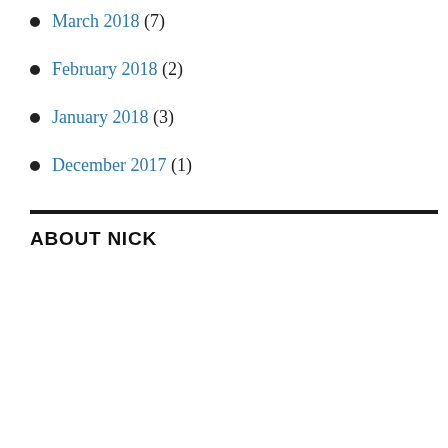March 2018 (7)
February 2018 (2)
January 2018 (3)
December 2017 (1)
ABOUT NICK